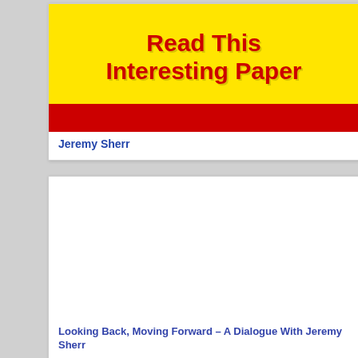[Figure (other): Card with yellow background showing bold red title text 'Read This Interesting Paper' and a dark red horizontal bar at the bottom]
Jeremy Sherr
[Figure (other): Second card with white background, mostly empty, with subtitle text at the bottom]
Looking Back, Moving Forward – A Dialogue With Jeremy Sherr